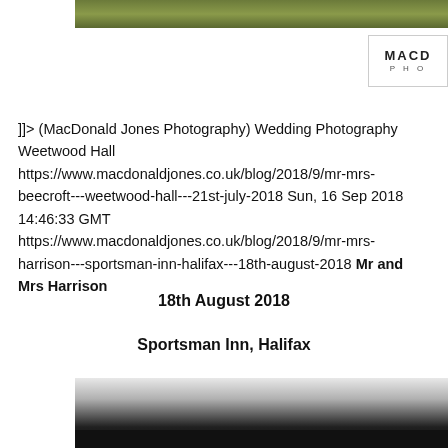[Figure (photo): Top strip photo of grassy/outdoor scene in green tones]
[Figure (logo): MacDonald Jones Photography logo — partial text MACD / PHO visible in top-right corner box]
]]> (MacDonald Jones Photography) Wedding Photography Weetwood Hall https://www.macdonaldjones.co.uk/blog/2018/9/mr-mrs-beecroft---weetwood-hall---21st-july-2018 Sun, 16 Sep 2018 14:46:33 GMT https://www.macdonaldjones.co.uk/blog/2018/9/mr-mrs-harrison---sportsman-inn-halifax---18th-august-2018 Mr and Mrs Harrison
18th August 2018
Sportsman Inn, Halifax
[Figure (photo): Bottom strip photo showing close-up of a white/silver reflective curved surface, dark background below]